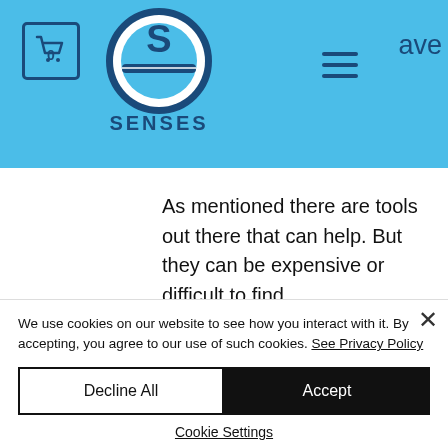[Figure (logo): SENSES brand logo with shopping cart icon (0), hamburger menu, and partial text 'ave' on a light blue header bar]
As mentioned there are tools out there that can help. But they can be expensive or difficult to find.
So we've come up with a few simple solutions to help.
We use cookies on our website to see how you interact with it. By accepting, you agree to our use of such cookies. See Privacy Policy
Decline All
Accept
Cookie Settings